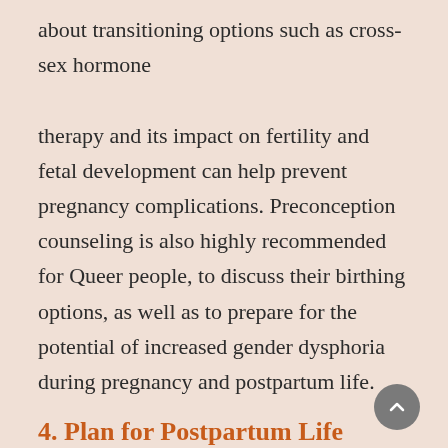about transitioning options such as cross-sex hormone

therapy and its impact on fertility and fetal development can help prevent pregnancy complications. Preconception counseling is also highly recommended for Queer people, to discuss their birthing options, as well as to prepare for the potential of increased gender dysphoria during pregnancy and postpartum life.
4. Plan for Postpartum Life
Whether deciding on optimal breastfeeding options, plans for medical